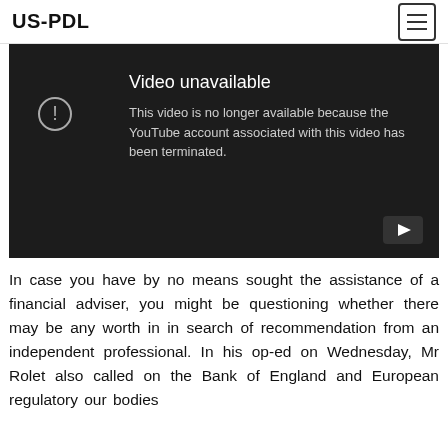US-PDL
[Figure (screenshot): Embedded YouTube video player showing 'Video unavailable' error message with text: 'This video is no longer available because the YouTube account associated with this video has been terminated.' Dark background with YouTube logo in bottom right.]
In case you have by no means sought the assistance of a financial adviser, you might be questioning whether there may be any worth in in search of recommendation from an independent professional. In his op-ed on Wednesday, Mr Rolet also called on the Bank of England and European regulatory our bodies